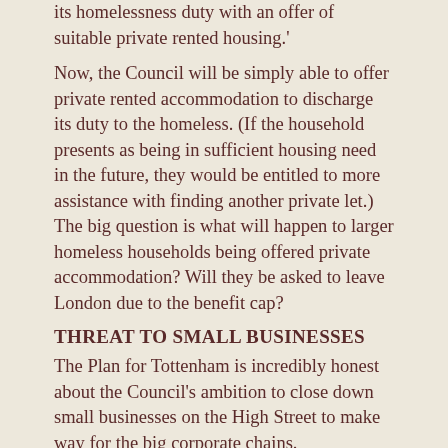its homelessness duty with an offer of suitable private rented housing.'
Now, the Council will be simply able to offer private rented accommodation to discharge its duty to the homeless. (If the household presents as being in sufficient housing need in the future, they would be entitled to more assistance with finding another private let.) The big question is what will happen to larger homeless households being offered private accommodation? Will they be asked to leave London due to the benefit cap?
THREAT TO SMALL BUSINESSES
The Plan for Tottenham is incredibly honest about the Council's ambition to close down small businesses on the High Street to make way for the big corporate chains.
On page 34 it states:
'The High Road will become home to more brand names, high quality independents and leisure providers that are attracted to the sense of place and excitement being created on the High Road.'